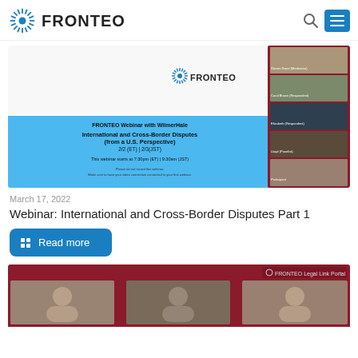FRONTEO
[Figure (screenshot): Screenshot of FRONTEO webinar with WilmerHale on International and Cross-Border Disputes (from a U.S. Perspective), 2/2 (ET) | 2/3(JST), starts at 7:30pm (ET) | 9:30am (JST). Shows webinar slide on left and video thumbnails of 5 participants on right.]
March 17, 2022
Webinar: International and Cross-Border Disputes Part 1
Read more
[Figure (screenshot): Bottom portion of another webinar article showing FRONTEO Legal Link Portal with three participant video thumbnails.]